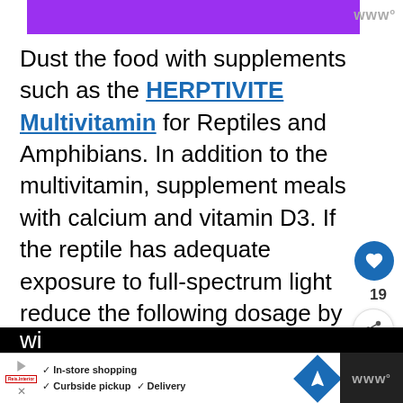[Figure (other): Purple banner image at top of page]
Dust the food with supplements such as the HERPTIVITE Multivitamin for Reptiles and Amphibians. In addition to the multivitamin, supplement meals with calcium and vitamin D3. If the reptile has adequate exposure to full-spectrum light reduce the following dosage by half.
Babies need calcium and vitamin D3 supplements with meals every day. need calcium and vitamin D3 supplements
[Figure (screenshot): WHAT'S NEXT widget showing 'What Do Bearded...' with thumbnail]
[Figure (screenshot): Bottom advertisement bar with In-store shopping, Curbside pickup, Delivery options and navigation icon]